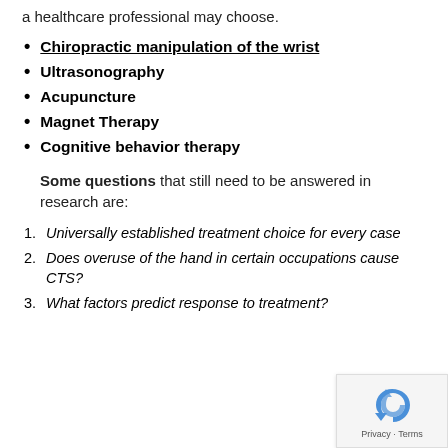a healthcare professional may choose.
Chiropractic manipulation of the wrist
Ultrasonography
Acupuncture
Magnet Therapy
Cognitive behavior therapy
Some questions that still need to be answered in research are:
Universally established treatment choice for every case
Does overuse of the hand in certain occupations cause CTS?
What factors predict response to treatment?